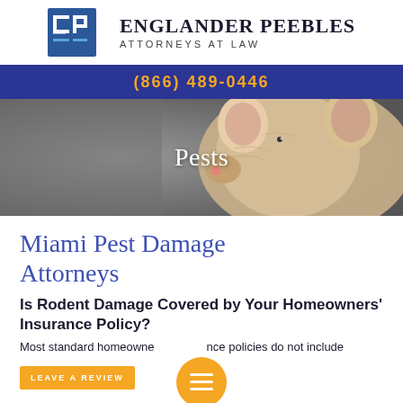[Figure (logo): Englander Peebles Attorneys at Law logo with blue stylized EP letterform icon]
(866) 489-0446
[Figure (photo): Close-up photo of a white/cream-colored rat or mouse against a blurred background, with the word 'Pests' overlaid in white serif text]
Miami Pest Damage Attorneys
Is Rodent Damage Covered by Your Homeowners' Insurance Policy?
Most standard homeowne... nce policies do not include